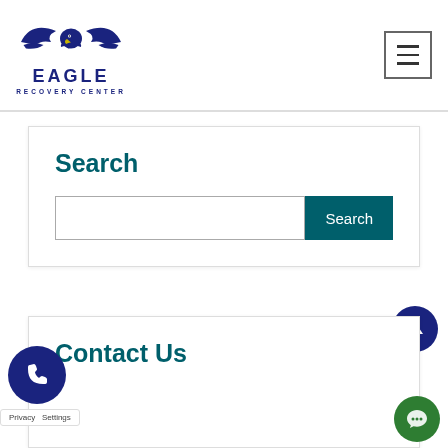[Figure (logo): Eagle Recovery Center logo with eagle wings in dark blue and text 'EAGLE RECOVERY CENTER']
Search
Search input field and Search button
Contact Us